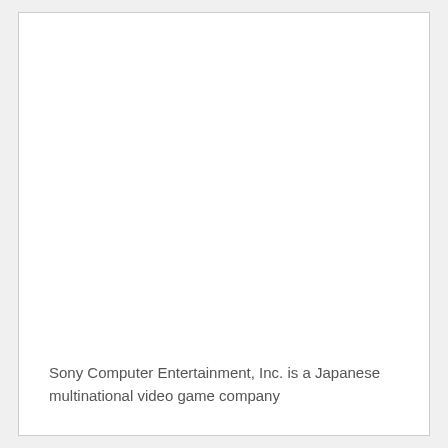Sony Computer Entertainment, Inc. is a Japanese multinational video game company